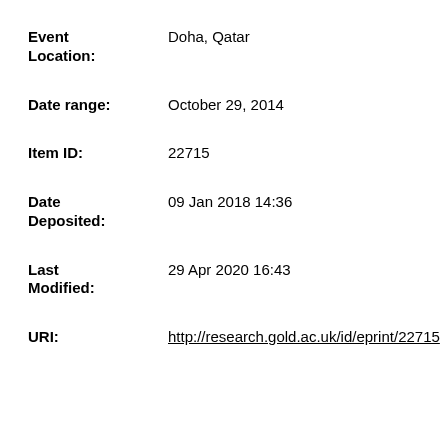Event Location: Doha, Qatar
Date range: October 29, 2014
Item ID: 22715
Date Deposited: 09 Jan 2018 14:36
Last Modified: 29 Apr 2020 16:43
URI: http://research.gold.ac.uk/id/eprint/22715